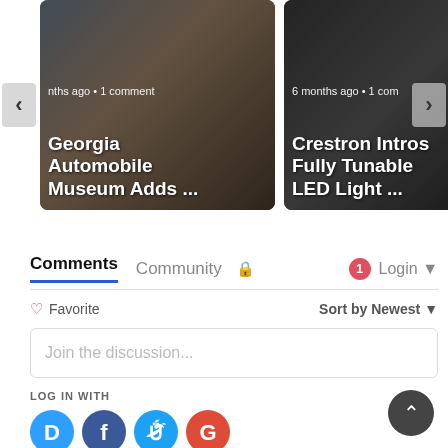[Figure (screenshot): Carousel card: Georgia Automobile Museum Adds ... — museum interior with race cars, 6 months ago, 1 comment]
[Figure (screenshot): Carousel card: Crestron Intros Fully Tunable LED Light ... — smart home interior, 6 months ago, 1 comment]
Comments   Community   🔒   1   Login ▾
♡ Favorite
Sort by Newest ▾
Join the discussion...
LOG IN WITH